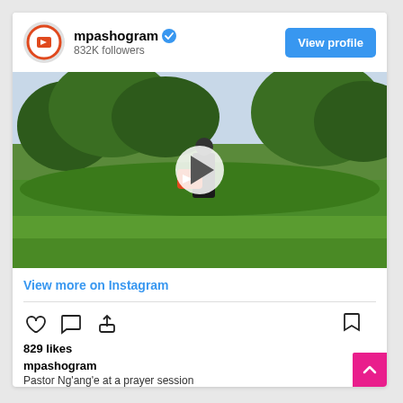mpashogram — 832K followers
[Figure (screenshot): Video thumbnail showing an outdoor scene with green grass and trees, with a white play button overlay and an mpashogram branded logo visible]
View more on Instagram
[Figure (infographic): Instagram action icons: heart (like), comment bubble, share arrow, and bookmark]
829 likes
mpashogram
Pastor Ng'ang'e at a prayer session